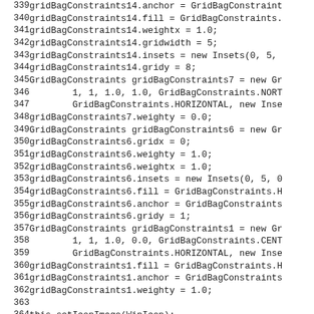339   gridBagConstraints14.anchor = GridBagConstraint
340   gridBagConstraints14.fill = GridBagConstraints.
341   gridBagConstraints14.weightx = 1.0;
342   gridBagConstraints14.gridwidth = 5;
343   gridBagConstraints14.insets = new Insets(0, 5,
344   gridBagConstraints14.gridy = 8;
345   GridBagConstraints gridBagConstraints7 = new Gr
346         1, 1, 1.0, 1.0, GridBagConstraints.NORT
347         GridBagConstraints.HORIZONTAL, new Inse
348   gridBagConstraints7.weighty = 0.0;
349   GridBagConstraints gridBagConstraints6 = new Gr
350   gridBagConstraints6.gridx = 0;
351   gridBagConstraints6.weighty = 1.0;
352   gridBagConstraints6.weightx = 1.0;
353   gridBagConstraints6.insets = new Insets(0, 5, 0
354   gridBagConstraints6.fill = GridBagConstraints.H
355   gridBagConstraints6.anchor = GridBagConstraints
356   gridBagConstraints6.gridy = 1;
357   GridBagConstraints gridBagConstraints1 = new Gr
358         1, 1, 1.0, 0.0, GridBagConstraints.CENT
359         GridBagConstraints.HORIZONTAL, new Inse
360   gridBagConstraints1.fill = GridBagConstraints.H
361   gridBagConstraints1.anchor = GridBagConstraints
362   gridBagConstraints1.weighty = 1.0;
363
364   this.setIconImage(WinIcon);
365   contentPane = (JPanel) this.getContentPane();
366   contentPane.setLayout(borderLayout1);
367   setSize(new Dimension(400, 450));
368   setTitle(PRODUCT_NAME + " " + VERSION);
369   this.addWindowListener(new MainFrame_this_windo
370   statusBar.setText(" ");